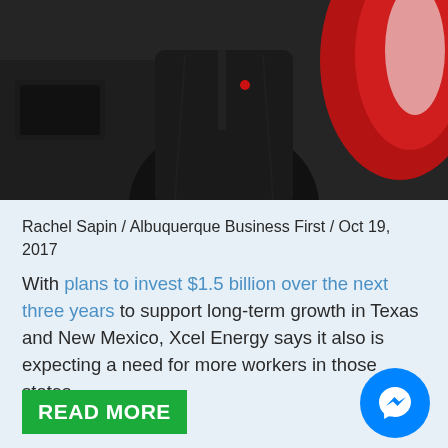[Figure (photo): Photo of a person in a dark jacket standing in front of a vehicle with red and white markings]
Rachel Sapin / Albuquerque Business First / Oct 19, 2017
With plans to invest $1.5 billion over the next three years to support long-term growth in Texas and New Mexico, Xcel Energy says it also is expecting a need for more workers in those states.
READ MORE